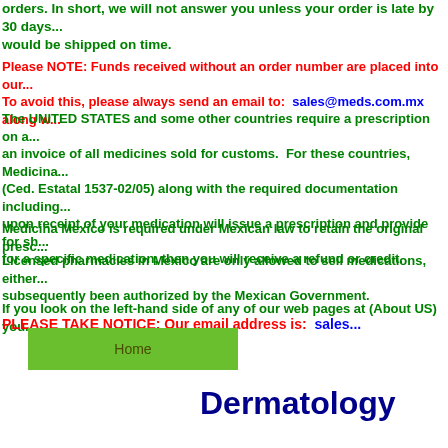orders. In short, we will not answer you unless your order is late by 30 days... would be shipped on time.
Please NOTE: Funds received without an order number are placed into our... To avoid this, please always send an email to: sales@meds.com.mx along w...
The UNITED STATES and some other countries require a prescription on a... an invoice of all medicines sold for customs. For these countries, Medicina... (Ced. Estatal 1537-02/05) along with the required documentation including... upon receipt of your medication will issue a prescription and provide for sh... for a specific medication, then you will receive a refund or credit.
Medicina Mexico is required under Mexican law to retain the original presc...
Licensed pharmacies in Mexico are only allowed to sell medications, either... subsequently been authorized by the Mexican Government.
If you look on the left-hand side of any of our web pages at (About US) you...
PLEASE TAKE NOTICE: Our email address is: sales...
[Figure (other): Green Home button]
Dermatology